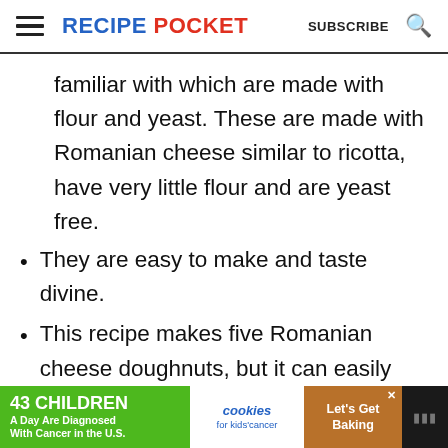RECIPE POCKET  SUBSCRIBE
familiar with which are made with flour and yeast. These are made with Romanian cheese similar to ricotta, have very little flour and are yeast free.
They are easy to make and taste divine.
This recipe makes five Romanian cheese doughnuts, but it can easily
[Figure (other): Advertisement banner: '43 CHILDREN A Day Are Diagnosed With Cancer in the U.S.' with cookies for kids cancer logo and 'Let's Get Baking' text]